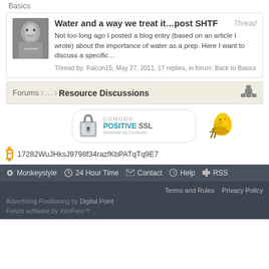Basics
Water and a way we treat it…post SHTF
Not too long ago I posted a blog entry (based on an article I wrote) about the importance of water as a prep. Here I want to discuss a specific…
Thread by: Falcon15, May 27, 2011, 17 replies, in forum: Back to Basics
Forums  …  Resource Discussions
[Figure (logo): Comodo Positive SSL badge with padlock icon]
[Figure (photo): Yellow canary bird sitting on a branch]
17282WuJHksJ9798f34razfKbPATqTq9E7
Monkeystyle  24 Hour Time  Contact  Help  RSS  Terms and Rules  Privacy Policy  Advertising Positioning by Digital Point  Forum software by XenForo™